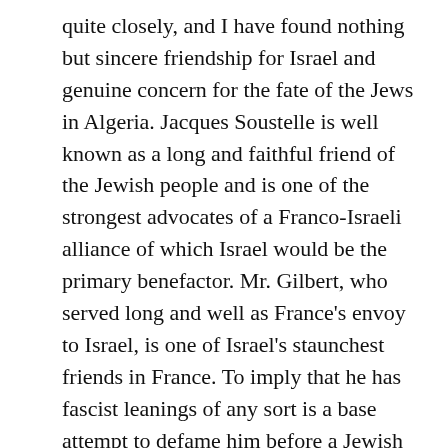quite closely, and I have found nothing but sincere friendship for Israel and genuine concern for the fate of the Jews in Algeria. Jacques Soustelle is well known as a long and faithful friend of the Jewish people and is one of the strongest advocates of a Franco-Israeli alliance of which Israel would be the primary benefactor. Mr. Gilbert, who served long and well as France's envoy to Israel, is one of Israel's staunchest friends in France. To imply that he has fascist leanings of any sort is a base attempt to defame him before a Jewish audience. If Mr. Alan is looking for anti-Semitism in the Algerian conflict, he'll find his fill of it in the ranks of the FLN, which last December in Algiers staged one of the worst pogroms since World War II. The Cairo-